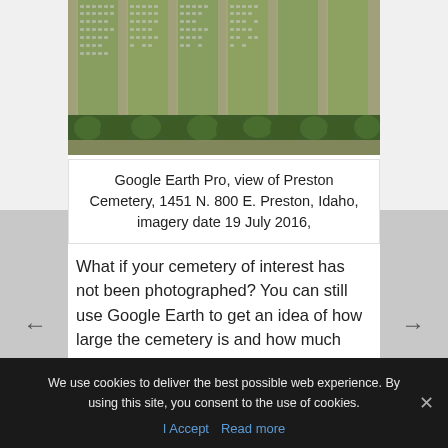[Figure (photo): Aerial/satellite view of Preston Cemetery showing rows of grave markers arranged in sections with trees along the bottom edge, viewed from above]
Google Earth Pro, view of Preston Cemetery, 1451 N. 800 E. Preston, Idaho, imagery date 19 July 2016,
What if your cemetery of interest has not been photographed? You can still use Google Earth to get an idea of how large the cemetery is and how much time it might take to search. The aerial view of the Preston Cemetery may not show names on
We use cookies to deliver the best possible web experience. By using this site, you consent to the use of cookies.
I Accept  Read more